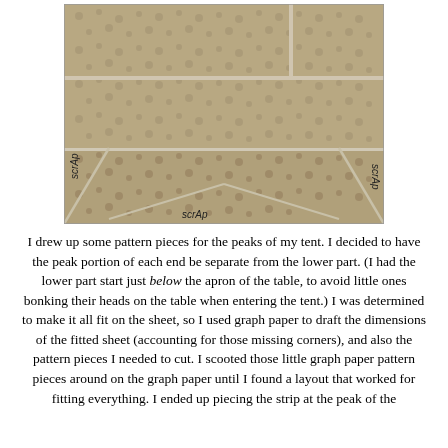[Figure (photo): Photograph of fabric pattern pieces laid out on a floral-print sheet. The pieces are outlined with tape or chalk lines on the fabric. Labels reading 'scrap' are handwritten on various corner/edge pieces.]
I drew up some pattern pieces for the peaks of my tent. I decided to have the peak portion of each end be separate from the lower part. (I had the lower part start just below the apron of the table, to avoid little ones bonking their heads on the table when entering the tent.) I was determined to make it all fit on the sheet, so I used graph paper to draft the dimensions of the fitted sheet (accounting for those missing corners), and also the pattern pieces I needed to cut. I scooted those little graph paper pattern pieces around on the graph paper until I found a layout that worked for fitting everything. I ended up piecing the strip at the peak of the